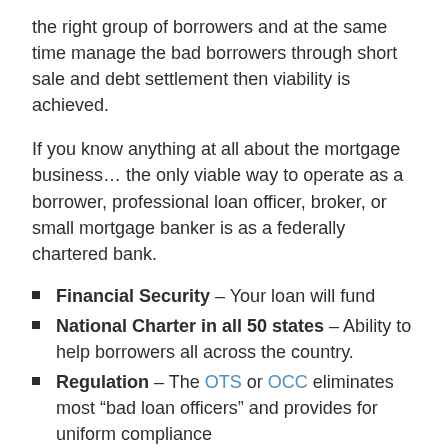the right group of borrowers and at the same time manage the bad borrowers through short sale and debt settlement then viability is achieved.
If you know anything at all about the mortgage business… the only viable way to operate as a borrower, professional loan officer, broker, or small mortgage banker is as a federally chartered bank.
Financial Security – Your loan will fund
National Charter in all 50 states – Ability to help borrowers all across the country.
Regulation – The OTS or OCC eliminates most "bad loan officers" and provides for uniform compliance
Competitive pricing – In-house product line with flexibility to broker.